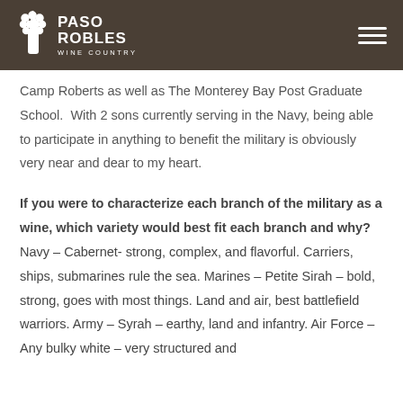PASO ROBLES WINE COUNTRY
Camp Roberts as well as The Monterey Bay Post Graduate School.  With 2 sons currently serving in the Navy, being able to participate in anything to benefit the military is obviously very near and dear to my heart.
If you were to characterize each branch of the military as a wine, which variety would best fit each branch and why? Navy – Cabernet- strong, complex, and flavorful. Carriers, ships, submarines rule the sea. Marines – Petite Sirah – bold, strong, goes with most things. Land and air, best battlefield warriors. Army – Syrah – earthy, land and infantry. Air Force – Any bulky white – very structured and